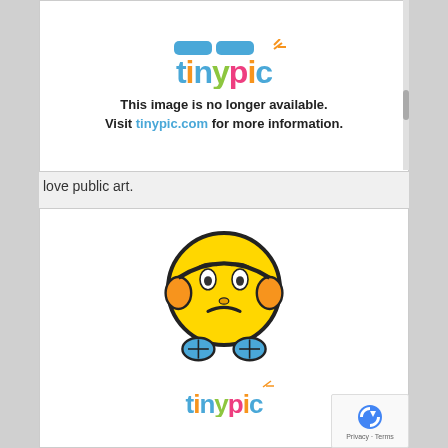[Figure (screenshot): TinyPic placeholder image showing 'This image is no longer available. Visit tinypic.com for more information.' with the tinypic logo above the text.]
love public art.
[Figure (screenshot): TinyPic placeholder showing a sad emoticon face with headphones and the tinypic logo below it, followed by partial text 'This image is no longer available.']